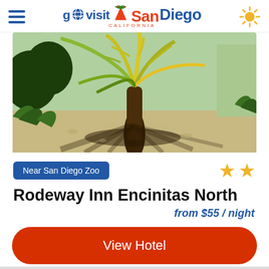go visit San Diego
[Figure (photo): Outdoor tropical garden photo showing a large palm-like plant with yellow-green fronds in sandy ground with green shrubs]
Near San Diego Zoo
★★
Rodeway Inn Encinitas North
from $55 / night
View Hotel